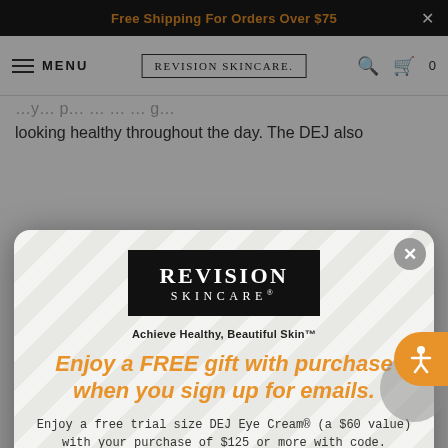Free Shipping For Orders Over $75
[Figure (screenshot): Revision Skincare navigation bar with menu icon, logo, search icon, and cart icon showing 0 items]
looking healthy throughout the day. The DEJ also
[Figure (screenshot): Revision Skincare email sign-up modal popup with logo, tagline 'Achieve Healthy, Beautiful Skin', promotional headline 'Enjoy a FREE gift with purchase when you sign up for emails.', offer text, First Name and Email input fields, close button, and accessibility button]
Enjoy a FREE gift with purchase when you sign up for emails.
Enjoy a free trial size DEJ Eye Cream® (a $60 value) with your purchase of $125 or more with code.
(code will be emailed to you after sign up)